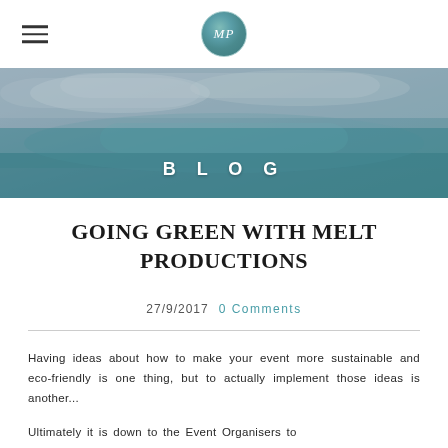MP (logo) with hamburger menu
[Figure (photo): Abstract painterly blue-grey-teal banner background image with BLOG text overlaid in white spaced capitals]
GOING GREEN WITH MELT PRODUCTIONS
27/9/2017  0 Comments
Having ideas about how to make your event more sustainable and eco-friendly is one thing, but to actually implement those ideas is another...
Ultimately it is down to the Event Organisers to